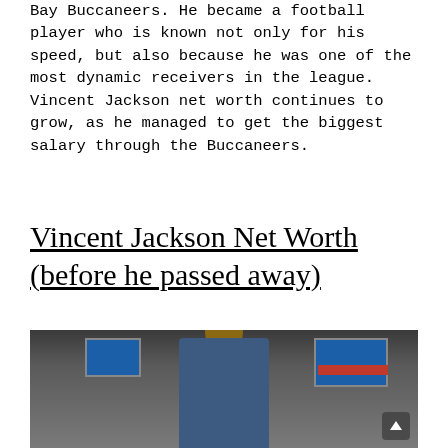Bay Buccaneers. He became a football player who is known not only for his speed, but also because he was one of the most dynamic receivers in the league. Vincent Jackson net worth continues to grow, as he managed to get the biggest salary through the Buccaneers.
Vincent Jackson Net Worth (before he passed away)
[Figure (photo): Photo of Vincent Jackson, a man in a blue blazer with a bow tie, smiling, standing in front of TV screens and monitors in what appears to be a media/broadcast setting.]